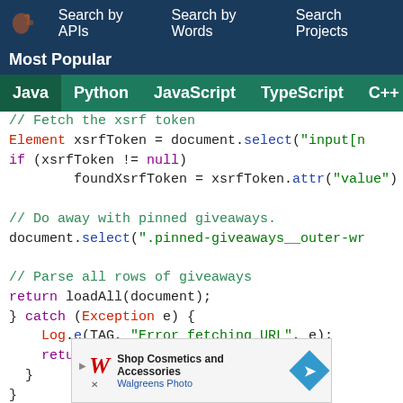Search by APIs   Search by Words   Search Projects
Most Popular
Java  Python  JavaScript  TypeScript  C++  Scala
[Figure (screenshot): Java code snippet showing xsrf token fetch, giveaway parsing, and catch block with Log.e error handling]
[Figure (screenshot): Advertisement banner: Shop Cosmetics and Accessories - Walgreens Photo]